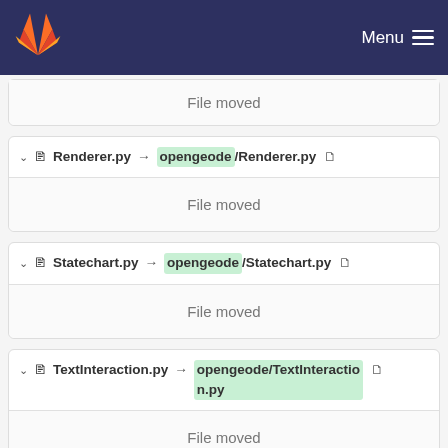Menu
File moved
Renderer.py → opengeode/Renderer.py
File moved
Statechart.py → opengeode/Statechart.py
File moved
TextInteraction.py → opengeode/TextInteraction.py
File moved